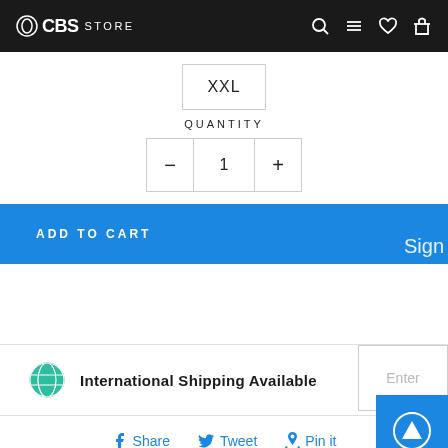CBS STORE
XXL
QUANTITY
1
ADD TO CART
International Shipping Available
Enter
Share  Tweet  Pin it